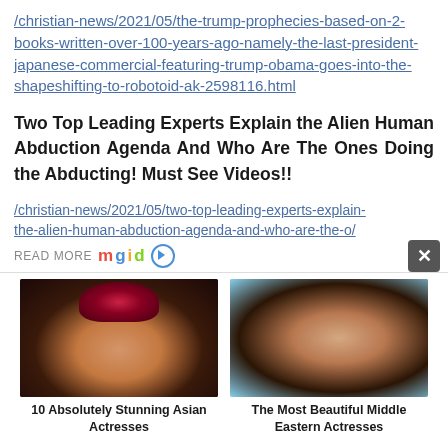/christian-news/2021/05/the-trump-prophecies-based-on-2-books-written-over-100-years-ago-namely-the-last-president-japanese-commercial-featuring-trump-obama-goes-into-the-shapeshifting-to-robotoid-ak-2598116.html
Two Top Leading Experts Explain the Alien Human Abduction Agenda And Who Are The Ones Doing the Abducting! Must See Videos!!
/christian-news/2021/05/two-top-leading-experts-explain-the-alien-human-abduction-agenda-and-who-are-the-o/
READ MORE mgid
[Figure (photo): Photo of an Asian woman with red roses in her hair and dramatic makeup]
10 Absolutely Stunning Asian Actresses
[Figure (photo): Photo of a Middle Eastern woman with dark hair sitting in a car]
The Most Beautiful Middle Eastern Actresses